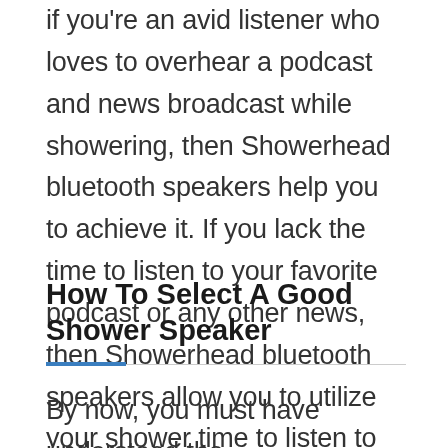if you're an avid listener who loves to overhear a podcast and news broadcast while showering, then Showerhead bluetooth speakers help you to achieve it. If you lack the time to listen to your favorite podcast or any other news, then Showerhead bluetooth speakers allow you to utilize your shower time to listen to anything that you would have probably missed earlier.
How To Select A Good Shower Speaker
By now, you must have understood the